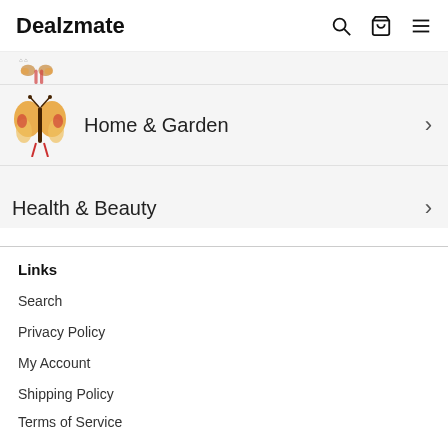Dealzmate
Home & Garden
Health & Beauty
Links
Search
Privacy Policy
My Account
Shipping Policy
Terms of Service
Refund policy